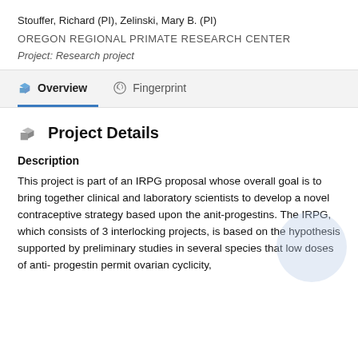Stouffer, Richard (PI), Zelinski, Mary B. (PI)
OREGON REGIONAL PRIMATE RESEARCH CENTER
Project: Research project
Overview
Fingerprint
Project Details
Description
This project is part of an IRPG proposal whose overall goal is to bring together clinical and laboratory scientists to develop a novel contraceptive strategy based upon the anit-progestins. The IRPG, which consists of 3 interlocking projects, is based on the hypothesis supported by preliminary studies in several species that low doses of anti- progestin permit ovarian cyclicity,